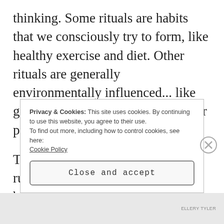thinking. Some rituals are habits that we consciously try to form, like healthy exercise and diet. Other rituals are generally environmentally influenced... like going to church, going out to eat, or putting up a Christmas tree.
This past weekend, I went out to run, not having exercised the week before. My
Privacy & Cookies: This site uses cookies. By continuing to use this website, you agree to their use.
To find out more, including how to control cookies, see here: Cookie Policy
Close and accept